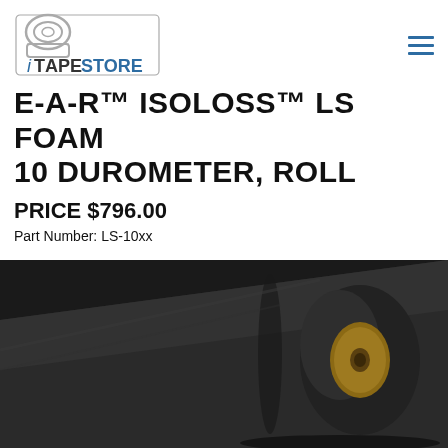iTapeStore
E-A-R™ ISOLOSS™ LS FOAM 10 DUROMETER, ROLL
PRICE $796.00
Part Number: LS-10xx
[Figure (photo): A roll of black E-A-R Isoloss LS foam material shown unrolling, with a cardboard core visible on the right end.]